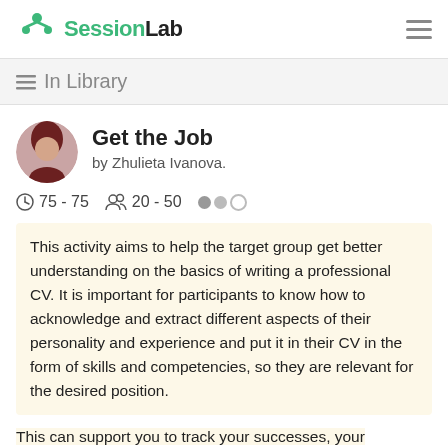SessionLab
≡ In Library
Get the Job
by Zhulieta Ivanova.
75 - 75   20 - 50
This activity aims to help the target group get better understanding on the basics of writing a professional CV. It is important for participants to know how to acknowledge and extract different aspects of their personality and experience and put it in their CV in the form of skills and competencies, so they are relevant for the desired position.
This can support you to track your successes, your

development and thus, help you to write meaningful cv and hopefully present yourself well on an interview.